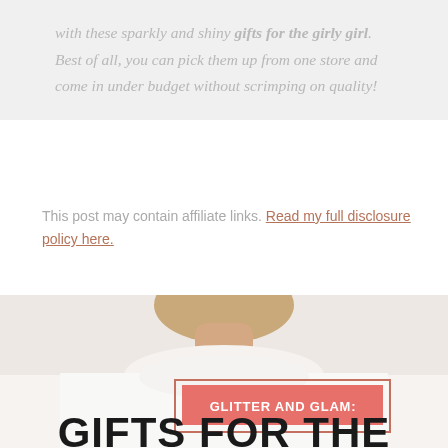with these sparkly and shiny gifts for the girly girl. Best of all, you can pick them up from one store and come in under budget without scrimping on quality!
This post may contain affiliate links. Read my full disclosure policy here.
[Figure (photo): Photo of a woman wearing a white shirt, showing neck and blonde hair, with a title overlay reading 'GLITTER AND GLAM: GIFTS FOR THE' on a salmon/coral background banner]